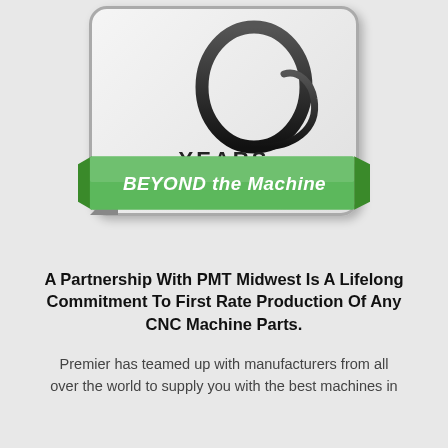[Figure (logo): 10 Years Beyond the Machine logo badge — stylized '10 YEARS' in dark calligraphic lettering inside a rounded-rectangle card with folded corner, overlaid with a green diagonal ribbon banner reading 'BEYOND the Machine' in bold white/italic text.]
A Partnership With PMT Midwest Is A Lifelong Commitment To First Rate Production Of Any CNC Machine Parts.
Premier has teamed up with manufacturers from all over the world to supply you with the best machines in